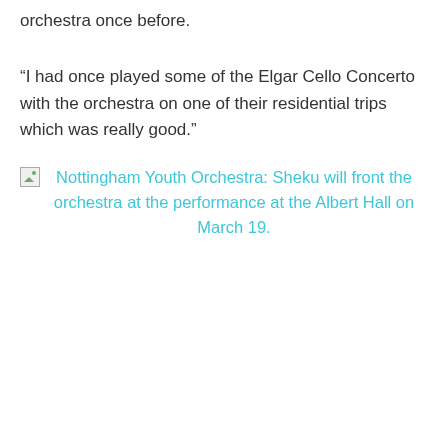orchestra once before.
“I had once played some of the Elgar Cello Concerto with the orchestra on one of their residential trips which was really good.”
Nottingham Youth Orchestra: Sheku will front the orchestra at the performance at the Albert Hall on March 19.